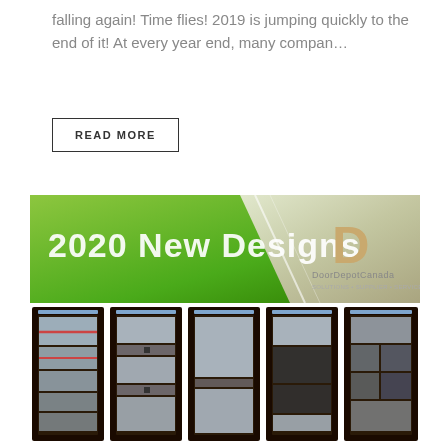falling again! Time flies! 2019 is jumping quickly to the end of it! At every year end, many compan...
READ MORE
[Figure (photo): Promotional banner for DoorDepotCanada showing '2020 New Designs' on a green gradient background with diagonal silver accent, company logo, and five door designs displayed below with dark frames and glass panel inserts featuring horizontal decorative elements.]